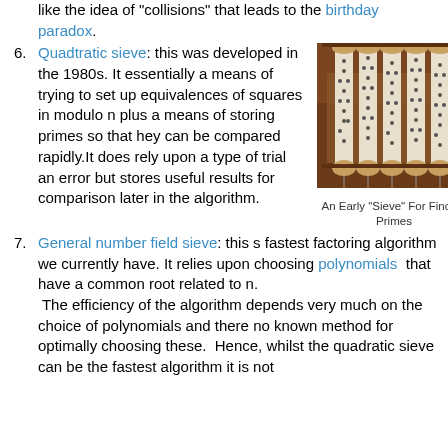like the idea of “collisions” that leads to the birthday paradox.
Quadtratic sieve: this was developed in the 1980s. It essentially a means of trying to set up equivalences of squares in modulo n plus a means of storing primes so that hey can be compared rapidly.It does rely upon a type of trial an error but stores useful results for comparison later in the algorithm.
[Figure (photo): An early mechanical sieve device with perforated paper/card strips mounted on rollers, used for finding prime numbers]
An Early "Sieve" For Finding Primes
General number field sieve: this s fastest factoring algorithm we currently have. It relies upon choosing polynomials that have a common root related to n. The efficiency of the algorithm depends very much on the choice of polynomials and there no known method for optimally choosing these. Hence, whilst the quadratic sieve can be the fastest algorithm it is not